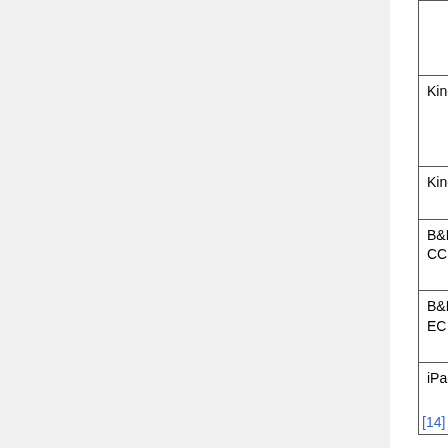|  | Format | Size in px | Resolution | File Size |
| --- | --- | --- | --- | --- |
| Kindle CC | JPG, TIFF | min 500px max 1280px | 72 dpi | n/s |
| Kindle EC | JPG | 600 x 800 | 167ppi – 300dpi | 127... |
| B&N/Nook CC | JPG, GIF, PNG | 600 x 730 | n/s | n/s |
| B&N/Nook EC | JPG, GIF, PNG | 600 x 1024 | 170 ppi | 300... |
| iPad EC | JPG, GIF, PNG | 600 x 860 | 132 ppi | 200... |
[14]